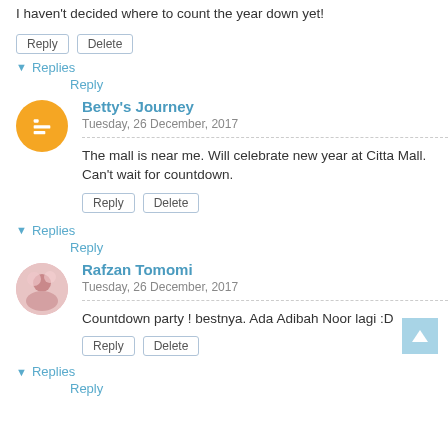I haven't decided where to count the year down yet!
Reply  Delete
▾ Replies
Reply
Betty's Journey
Tuesday, 26 December, 2017
The mall is near me. Will celebrate new year at Citta Mall. Can't wait for countdown.
Reply  Delete
▾ Replies
Reply
Rafzan Tomomi
Tuesday, 26 December, 2017
Countdown party ! bestnya. Ada Adibah Noor lagi :D
Reply  Delete
▾ Replies
Reply